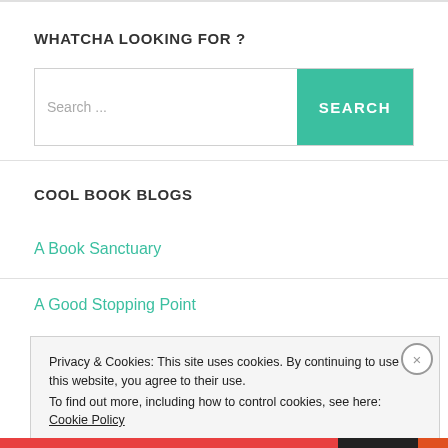WHATCHA LOOKING FOR ?
[Figure (screenshot): Search bar with text input placeholder 'Search ...' and a teal 'SEARCH' button]
COOL BOOK BLOGS
A Book Sanctuary
A Good Stopping Point
Privacy & Cookies: This site uses cookies. By continuing to use this website, you agree to their use.
To find out more, including how to control cookies, see here: Cookie Policy
Close and accept